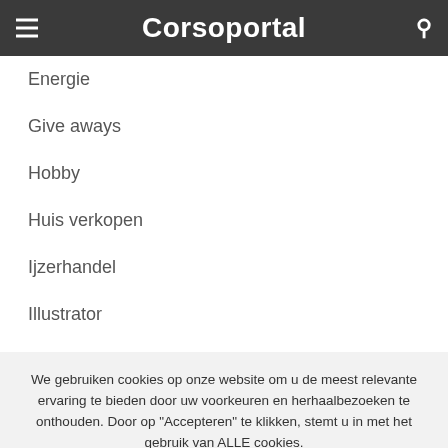Corsoportal
Energie
Give aways
Hobby
Huis verkopen
Ijzerhandel
Illustrator
Inboedel
We gebruiken cookies op onze website om u de meest relevante ervaring te bieden door uw voorkeuren en herhaalbezoeken te onthouden. Door op "Accepteren" te klikken, stemt u in met het gebruik van ALLE cookies.
Cookie instellingen    ACCEPTEREN